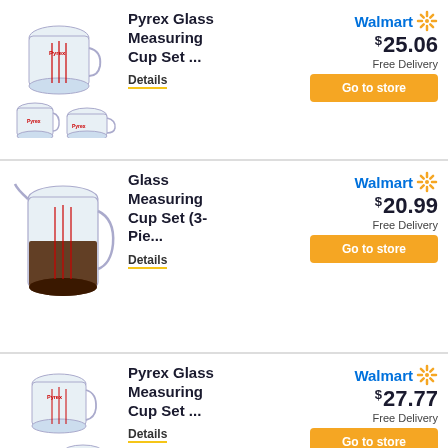[Figure (photo): Pyrex glass measuring cup set with multiple cups]
Pyrex Glass Measuring Cup Set ...
Details
[Figure (logo): Walmart logo with spark]
$ 25.06
Free Delivery
Go to store
[Figure (photo): Glass measuring cup with dark liquid inside]
Glass Measuring Cup Set (3-Pie...
Details
[Figure (logo): Walmart logo with spark]
$ 20.99
Free Delivery
Go to store
[Figure (photo): Pyrex glass measuring cup set with multiple cups]
Pyrex Glass Measuring Cup Set ...
Details
[Figure (logo): Walmart logo with spark]
$ 27.77
Free Delivery
Go to store